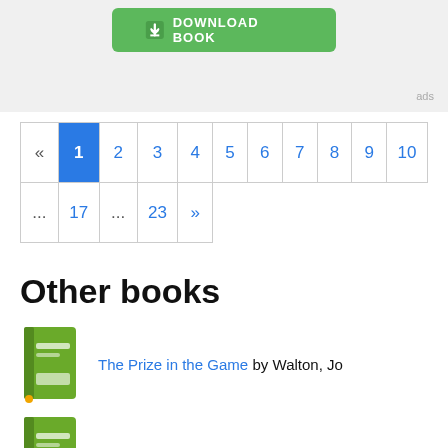[Figure (screenshot): Green download button with down-arrow icon on a light gray banner background]
ads
« 1 2 3 4 5 6 7 8 9 10 ... 17 ... 23 »
Other books
The Prize in the Game by Walton, Jo
The Orpheus Descent by Tom Harper
Patience, Princess Catherine by Carolyn Meyer